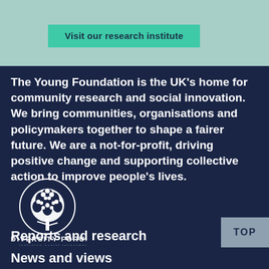[Figure (other): Green button with text 'Visit our research institute' on a teal/mint background]
The Young Foundation is the UK's home for community research and social innovation. We bring communities, organisations and policymakers together to shape a fairer future. We are a not-for-profit, driving positive change and supporting collective action to improve people's lives.
[Figure (logo): Diversity Forum logo - white tree inside a circle with text DIVERSITY FORUM and tagline 'Inclusive Social Investment' on dark navy background]
TOP
Reports and research
News and views